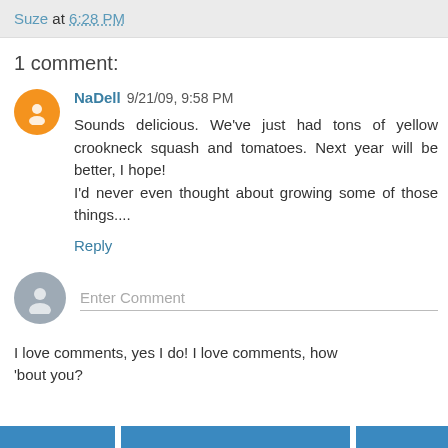Suze at 6:28 PM
1 comment:
NaDell 9/21/09, 9:58 PM
Sounds delicious. We've just had tons of yellow crookneck squash and tomatoes. Next year will be better, I hope!
I'd never even thought about growing some of those things....
Reply
Enter Comment
I love comments, yes I do! I love comments, how 'bout you?